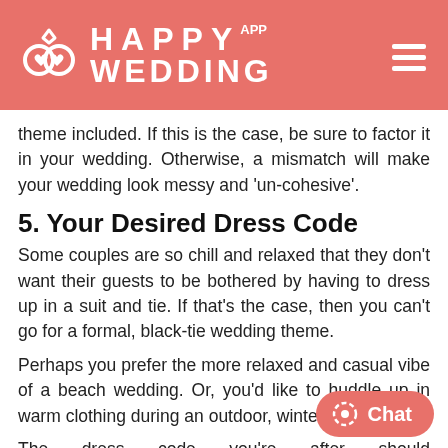HAPPY WEDDING APP
theme included. If this is the case, be sure to factor it in your wedding. Otherwise, a mismatch will make your wedding look messy and 'un-cohesive'.
5. Your Desired Dress Code
Some couples are so chill and relaxed that they don't want their guests to be bothered by having to dress up in a suit and tie. If that's the case, then you can't go for a formal, black-tie wedding theme.
Perhaps you prefer the more relaxed and casual vibe of a beach wedding. Or, you'd like to huddle up in warm clothing during an outdoor, winter wedding.
The dress code you're after should ne after-thought. After all, it can set the entire mood of